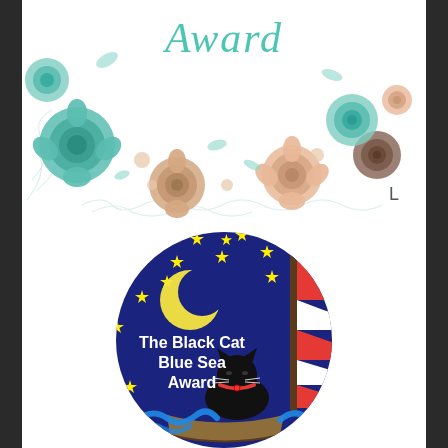[Figure (illustration): Floral wreath award badge with teal and peach roses and the word 'Award' in teal script at the top. A small letter 'L' appears in the lower right.]
[Figure (illustration): Circular badge with dark blue night sky background filled with yellow stars, a yellow crescent moon, a black cat sitting in a wooden boat with blue waves, and a sailboat sail with red and white stripes on the right half. White text reads 'The Black Cat Blue Sea Award'.]